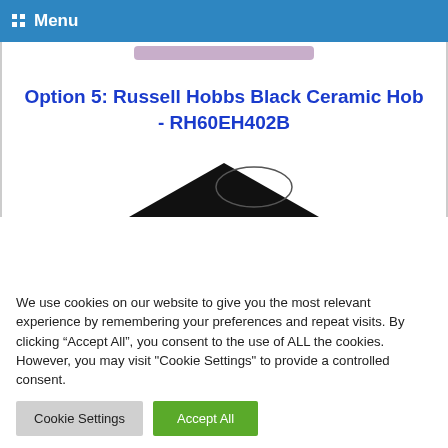Menu
Option 5: Russell Hobbs Black Ceramic Hob - RH60EH402B
[Figure (photo): Partial view of a black ceramic hob top surface with circular ring markings]
We use cookies on our website to give you the most relevant experience by remembering your preferences and repeat visits. By clicking “Accept All”, you consent to the use of ALL the cookies. However, you may visit "Cookie Settings" to provide a controlled consent.